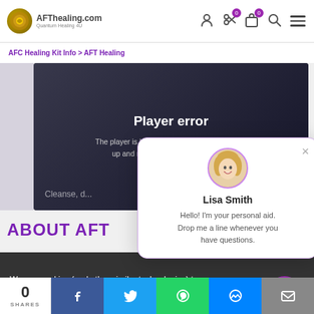AFThealing.com
[Figure (screenshot): Video player showing error message: Player error. The player is having trouble. We'll have it back up and running as soon as possible. Partially visible text reads 'Cleanse, d...']
ABOUT AFT
[Figure (infographic): Chat popup with avatar photo of Lisa Smith (blonde woman smiling). Name: Lisa Smith. Message: Hello! I'm your personal aid. Drop me a line whenever you have questions. Close button (x) in top right.]
We use cookies (and other similar technologies) to collect data to improve your shopping experience.
0 SHARES | Facebook | Twitter | WhatsApp | Messenger | Email